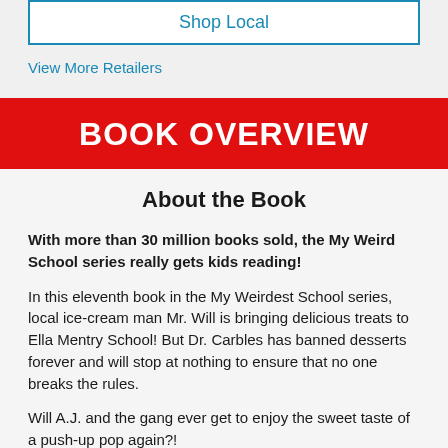Shop Local
View More Retailers
BOOK OVERVIEW
About the Book
With more than 30 million books sold, the My Weird School series really gets kids reading!
In this eleventh book in the My Weirdest School series, local ice-cream man Mr. Will is bringing delicious treats to Ella Mentry School! But Dr. Carbles has banned desserts forever and will stop at nothing to ensure that no one breaks the rules.
Will A.J. and the gang ever get to enjoy the sweet taste of a push-up pop again?!
Perfect for reluctant readers and all kids hungry for funny school stories, Dan Gutman's hugely popular My Weird School chapter book series has something for everyone. Don't miss the